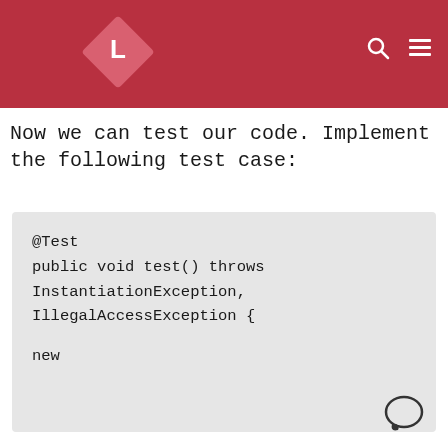L [logo] [search icon] [menu icon]
Now we can test our code. Implement the following test case:
[Figure (screenshot): Code snippet block with light gray background showing Java test method with @Test annotation, public void test() throws InstantiationException, IllegalAccessException { ... new ...]
Privacy & Cookies: This site uses cookies. By continuing to use this website, you agree to their use.
To find out more, including how to control cookies, see here: Cookie Policy
Close and accept